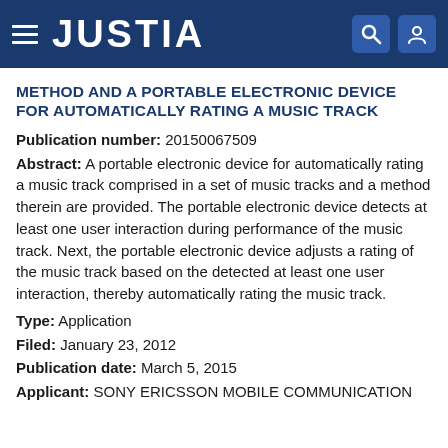JUSTIA
METHOD AND A PORTABLE ELECTRONIC DEVICE FOR AUTOMATICALLY RATING A MUSIC TRACK
Publication number: 20150067509
Abstract: A portable electronic device for automatically rating a music track comprised in a set of music tracks and a method therein are provided. The portable electronic device detects at least one user interaction during performance of the music track. Next, the portable electronic device adjusts a rating of the music track based on the detected at least one user interaction, thereby automatically rating the music track.
Type: Application
Filed: January 23, 2012
Publication date: March 5, 2015
Applicant: SONY ERICSSON MOBILE COMMUNICATION